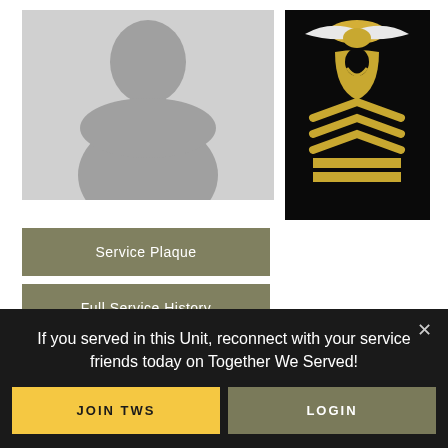[Figure (photo): Gray silhouette placeholder profile photo]
[Figure (photo): Military rank insignia on black background — gold chief petty officer chevrons with eagle]
Service Plaque
Full Service History
Artis, Anthony, FCC
Status
USN Retired
If you served in this Unit, reconnect with your service friends today on Together We Served!
JOIN TWS
LOGIN